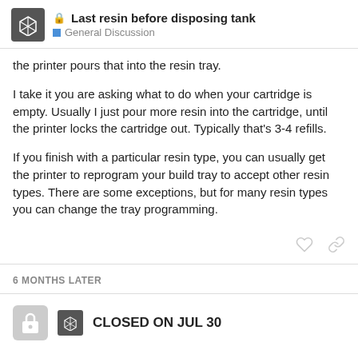Last resin before disposing tank — General Discussion
the printer pours that into the resin tray.
I take it you are asking what to do when your cartridge is empty. Usually I just pour more resin into the cartridge, until the printer locks the cartridge out. Typically that's 3-4 refills.
If you finish with a particular resin type, you can usually get the printer to reprogram your build tray to accept other resin types. There are some exceptions, but for many resin types you can change the tray programming.
6 MONTHS LATER
CLOSED ON JUL 30